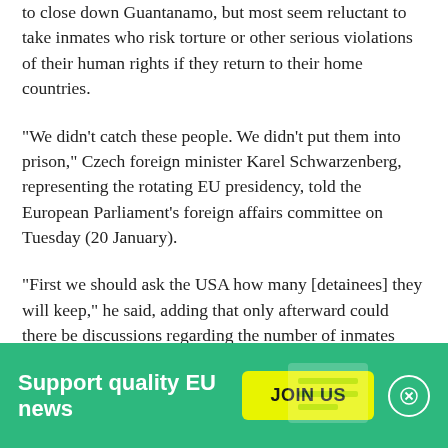to close down Guantanamo, but most seem reluctant to take inmates who risk torture or other serious violations of their human rights if they return to their home countries.
"We didn't catch these people. We didn't put them into prison," Czech foreign minister Karel Schwarzenberg, representing the rotating EU presidency, told the European Parliament's foreign affairs committee on Tuesday (20 January).
"First we should ask the USA how many [detainees] they will keep," he said, adding that only afterward could there be discussions regarding the number of inmates
[Figure (infographic): Green banner at bottom with text 'Support quality EU news', a yellow 'JOIN US' button, and a close (X) button]